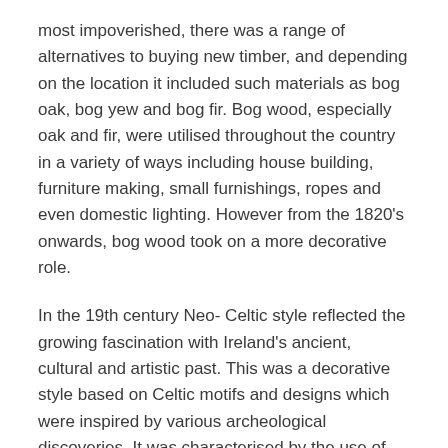most impoverished, there was a range of alternatives to buying new timber, and depending on the location it included such materials as bog oak, bog yew and bog fir. Bog wood, especially oak and fir, were utilised throughout the country in a variety of ways including house building, furniture making, small furnishings, ropes and even domestic lighting. However from the 1820's onwards, bog wood took on a more decorative role.
In the 19th century Neo- Celtic style reflected the growing fascination with Ireland's ancient, cultural and artistic past. This was a decorative style based on Celtic motifs and designs which were inspired by various archeological discoveries. It was characterised by the use of symbols such as the shamrock, Irish harp, round tower and wolfhound, with interlacing patterns incorporating Gaelic script from the Book of Kells. This was the only style based exclusively on a native Irish source. During this period carved bog wood, incorporating many of these designs, was used for a